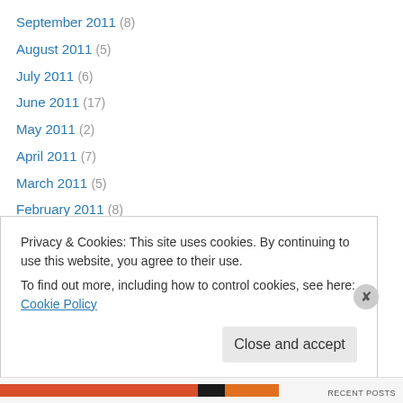September 2011 (8)
August 2011 (5)
July 2011 (6)
June 2011 (17)
May 2011 (2)
April 2011 (7)
March 2011 (5)
February 2011 (8)
January 2011 (9)
December 2010 (2)
November 2010 (5)
October 2010 (6)
September 2010 (9)
Privacy & Cookies: This site uses cookies. By continuing to use this website, you agree to their use. To find out more, including how to control cookies, see here: Cookie Policy
Close and accept